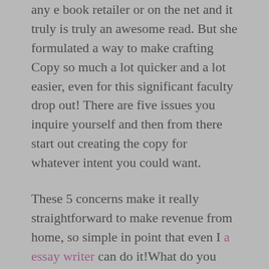any e book retailer or on the net and it truly is truly an awesome read. But she formulated a way to make crafting Copy so much a lot quicker and a lot easier, even for this significant faculty drop out! There are five issues you inquire yourself and then from there start out creating the copy for whatever intent you could want.
These 5 concerns make it really straightforward to make revenue from home, so simple in point that even I a essay writer can do it!What do you imagine would materialize if he started out off by hitting us on the head with his revenue option or merchandise without having initially discovering out if that was what we desired? Extremely probable we would have felt offended and aggravated, and quite possible we would have clicked absent from his website as swiftly as we could, and made a mental notice never to return. Change your profile photo and greeting at